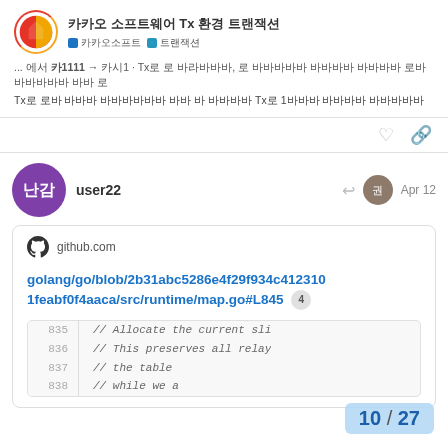카카오 소프트웨어 Tx 환경 트랜잭션
... 에서 카1111 → 카시1 · Tx로 로 바라바바바, 로 바바바바바 바바바바 바바바바 로바 바바바바바 바바 로
Tx로 로바 바바바 바바바바바바 바바 바 바바바바 Tx로 1바바바 바바바바 바바바바바
user22
Apr 12
github.com
golang/go/blob/2b31abc5286e4f29f934c4123101feabf0f4aaca/src/runtime/map.go#L845 4
[Figure (screenshot): Code snippet showing lines 835-838 from Go source file map.go with comments: // Allocate the current sli, // This preserves all relay, // the table, // while we a]